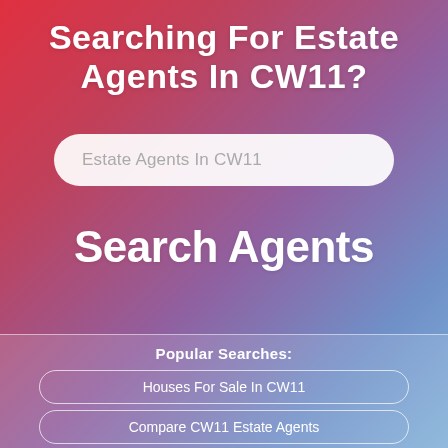Searching For Estate Agents In CW11?
Estate Agents In CW11
Search Agents
Popular Searches:
Houses For Sale In CW11
Compare CW11 Estate Agents